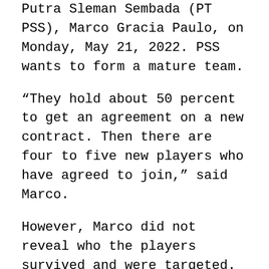Putra Sleman Sembada (PT PSS), Marco Gracia Paulo, on Monday, May 21, 2022. PSS wants to form a mature team.
“They hold about 50 percent to get an agreement on a new contract. Then there are four to five new players who have agreed to join,” said Marco.
However, Marco did not reveal who the players survived and were targeted. The names of the survived players and those who were brought back by PSS will be announced in stages.
One thing is certain, Dejan Antonic will be looked after. The Serbian coach is entrusted with leading the Java Eagle, nicknamed PSS, in the Menpora Cup in 2022 and in League 1 in 2022.